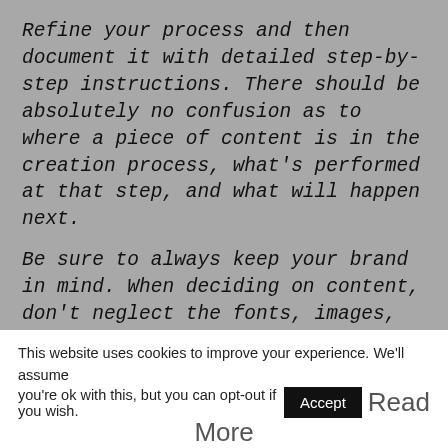Refine your process and then document it with detailed step-by-step instructions. There should be absolutely no confusion as to where a piece of content is in the creation process, what's performed at that step, and what will happen next.
Be sure to always keep your brand in mind. When deciding on content, don't neglect the fonts, images, and tone your audience has come to expect from you.
If your tone switches from business
This website uses cookies to improve your experience. We'll assume you're ok with this, but you can opt-out if you wish. Accept Read More